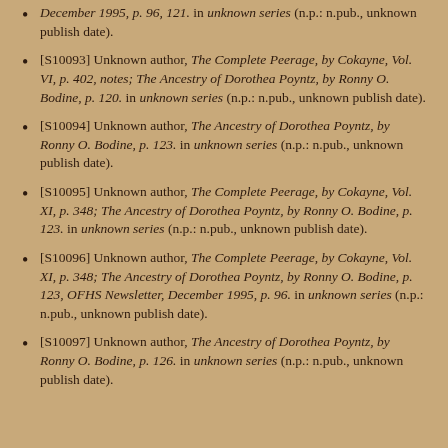December 1995, p. 96, 121. in unknown series (n.p.: n.pub., unknown publish date).
[S10093] Unknown author, The Complete Peerage, by Cokayne, Vol. VI, p. 402, notes; The Ancestry of Dorothea Poyntz, by Ronny O. Bodine, p. 120. in unknown series (n.p.: n.pub., unknown publish date).
[S10094] Unknown author, The Ancestry of Dorothea Poyntz, by Ronny O. Bodine, p. 123. in unknown series (n.p.: n.pub., unknown publish date).
[S10095] Unknown author, The Complete Peerage, by Cokayne, Vol. XI, p. 348; The Ancestry of Dorothea Poyntz, by Ronny O. Bodine, p. 123. in unknown series (n.p.: n.pub., unknown publish date).
[S10096] Unknown author, The Complete Peerage, by Cokayne, Vol. XI, p. 348; The Ancestry of Dorothea Poyntz, by Ronny O. Bodine, p. 123, OFHS Newsletter, December 1995, p. 96. in unknown series (n.p.: n.pub., unknown publish date).
[S10097] Unknown author, The Ancestry of Dorothea Poyntz, by Ronny O. Bodine, p. 126. in unknown series (n.p.: n.pub., unknown publish date).